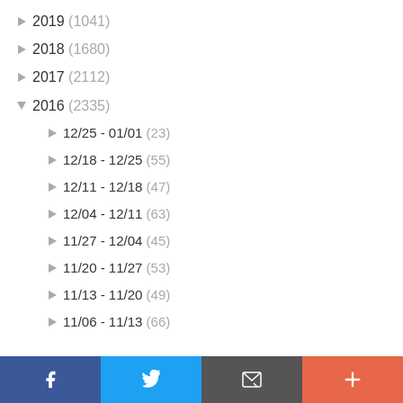► 2019 (1041)
► 2018 (1680)
► 2017 (2112)
▼ 2016 (2335)
► 12/25 - 01/01 (23)
► 12/18 - 12/25 (55)
► 12/11 - 12/18 (47)
► 12/04 - 12/11 (63)
► 11/27 - 12/04 (45)
► 11/20 - 11/27 (53)
► 11/13 - 11/20 (49)
► 11/06 - 11/13 (66)
[Figure (screenshot): Social sharing bar with Facebook, Twitter, Email, and Add buttons]